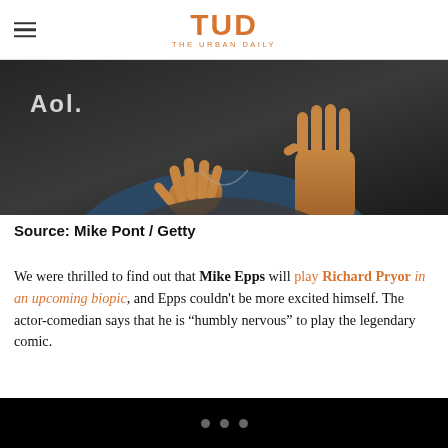TUD THE URBAN DAILY
[Figure (photo): Photo of a person with hands raised, with AOL logo visible in background, dark setting]
Source: Mike Pont / Getty
We were thrilled to find out that Mike Epps will play Richard Pryor in an upcoming biopic, and Epps couldn't be more excited himself. The actor-comedian says that he is “humbly nervous” to play the legendary comic.
...